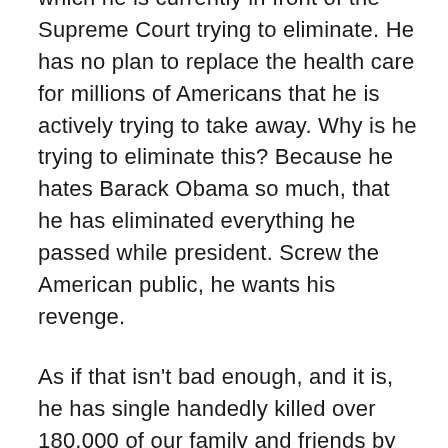which he is currently in front of the Supreme Court trying to eliminate. He has no plan to replace the health care for millions of Americans that he is actively trying to take away. Why is he trying to eliminate this? Because he hates Barack Obama so much, that he has eliminated everything he passed while president. Screw the American public, he wants his revenge.
As if that isn't bad enough, and it is, he has single handedly killed over 180,000 of our family and friends by his complete lack of understanding of the Covid-19 virus. Literally, everything he has done has been the